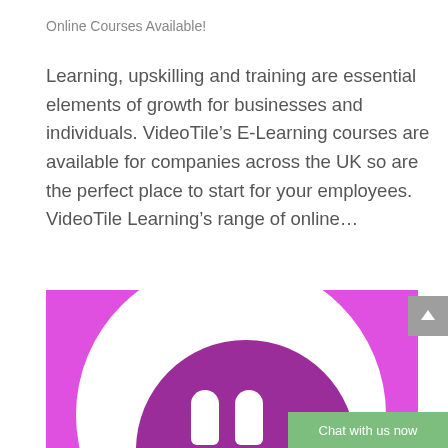Online Courses Available!
Learning, upskilling and training are essential elements of growth for businesses and individuals. VideoTile’s E-Learning courses are available for companies across the UK so are the perfect place to start for your employees. VideoTile Learning’s range of online…
[Figure (illustration): Pink/magenta square background with a large white circle containing a purple circle with two white pin/bowling pin shapes inside it, representing a VideoTile Learning logo or icon.]